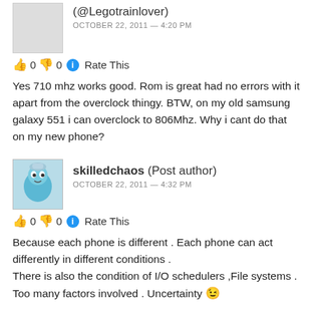(@Legotrainlover)
OCTOBER 22, 2011 — 4:20 PM
👍 0 👎 0 ℹ Rate This
Yes 710 mhz works good. Rom is great had no errors with it apart from the overclock thingy. BTW, on my old samsung galaxy 551 i can overclock to 806Mhz. Why i cant do that on my new phone?
skilledchaos (Post author)
OCTOBER 22, 2011 — 4:32 PM
👍 0 👎 0 ℹ Rate This
Because each phone is different . Each phone can act differently in different conditions .
There is also the condition of I/O schedulers ,File systems .
Too many factors involved . Uncertainty 😉